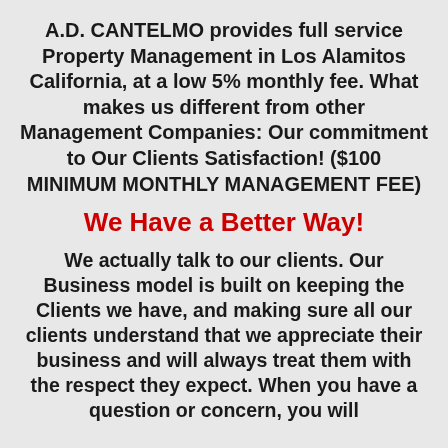A.D. CANTELMO provides full service Property Management in Los Alamitos California, at a low 5% monthly fee. What makes us different from other Management Companies: Our commitment to Our Clients Satisfaction! ($100 MINIMUM MONTHLY MANAGEMENT FEE)
We Have a Better Way!
We actually talk to our clients. Our Business model is built on keeping the Clients we have, and making sure all our clients understand that we appreciate their business and will always treat them with the respect they expect. When you have a question or concern, you will